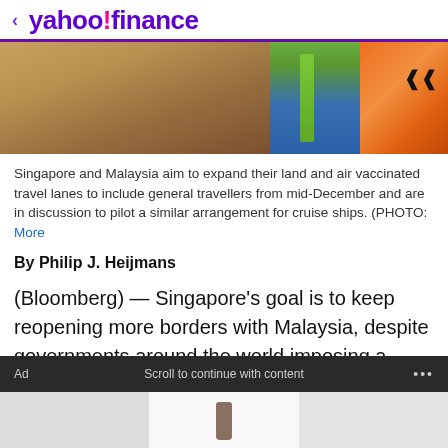< yahoo!finance
[Figure (photo): Photo of a vehicle and a worker in a yellow vest near a yellow/orange chevron barrier, partially cropped at top]
Singapore and Malaysia aim to expand their land and air vaccinated travel lanes to include general travellers from mid-December and are in discussion to pilot a similar arrangement for cruise ships. (PHOTO: More
By Philip J. Heijmans
(Bloomberg) — Singapore's goal is to keep reopening more borders with Malaysia, despite governments around the world imposing a flurry of travel restrictions to curb the spread of the Omicron coronavirus variant.
Ad    Scroll to continue with content    ...